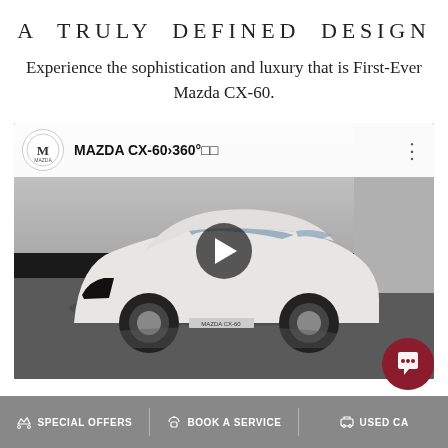A TRULY DEFINED DESIGN
Experience the sophistication and luxury that is First-Ever Mazda CX-60.
[Figure (screenshot): YouTube video thumbnail showing a white Mazda CX-60 SUV parked in a studio setting with a play button overlay. Video title reads: MAZDA CX-60 360° with Mazda logo at top left.]
SPECIAL OFFERS | BOOK A SERVICE | USED CA...